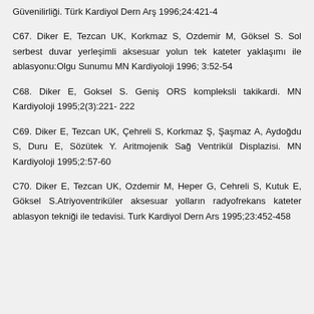Güvenilirliği. Türk Kardiyol Dern Arş 1996;24:421-4
C67. Diker E, Tezcan UK, Korkmaz S, Ozdemir M, Göksel S. Sol serbest duvar yerleşimli aksesuar yolun tek kateter yaklaşımı ile ablasyonu:Olgu Sunumu MN Kardiyoloji 1996; 3:52-54
C68. Diker E, Goksel S. Geniş ORS kompleksli takikardi. MN Kardiyoloji 1995;2(3):221- 222
C69. Diker E, Tezcan UK, Çehreli S, Korkmaz Ş, Şaşmaz A, Aydoğdu S, Duru E, Sözütek Y. Aritmojenik Sağ Ventrikül Displazisi. MN Kardiyoloji 1995;2:57-60
C70. Diker E, Tezcan UK, Ozdemir M, Heper G, Cehreli S, Kutuk E, Göksel S.Atriyoventriküler aksesuar yolların radyofrekans kateter ablasyon tekniği ile tedavisi. Turk Kardiyol Dern Ars 1995;23:452-458